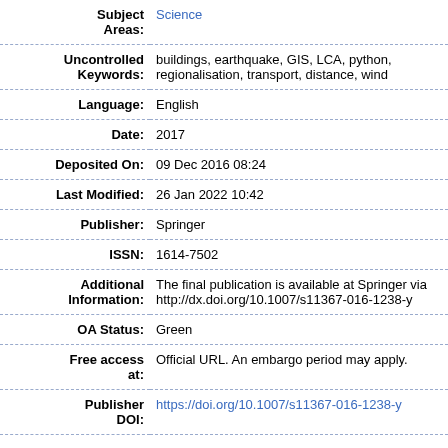| Subject Areas: | Science |
| Uncontrolled Keywords: | buildings, earthquake, GIS, LCA, python, regionalisation, transport, distance, wind |
| Language: | English |
| Date: | 2017 |
| Deposited On: | 09 Dec 2016 08:24 |
| Last Modified: | 26 Jan 2022 10:42 |
| Publisher: | Springer |
| ISSN: | 1614-7502 |
| Additional Information: | The final publication is available at Springer via http://dx.doi.org/10.1007/s11367-016-1238-y |
| OA Status: | Green |
| Free access at: | Official URL. An embargo period may apply. |
| Publisher DOI: | https://doi.org/10.1007/s11367-016-1238-y |